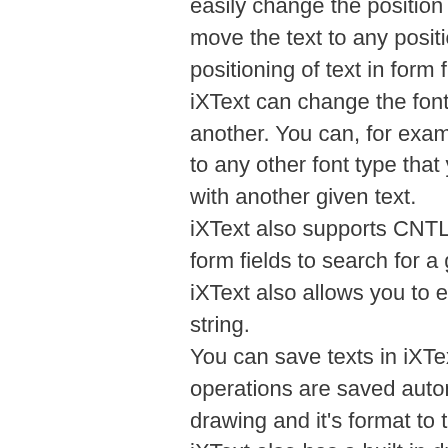easily change the position of text while making it larger. You can also move the text to any position you want. This can be used for positioning of text in form fields. iXText can change the font of the entire file from one font type to another. You can, for example, convert text from a Microsoft Word font to any other font type that you have. You can also replace a given text with another given text. iXText also supports CNTL + F and CTRL + F (CTRL + SHIFT + F) in form fields to search for a given string. iXText also allows you to easily copy and paste a string to another string. You can save texts in iXText in BINARY or TEXT format. All text operations are saved automatically. You can also save an entire drawing and it's format to the drawing buffer. iXText also has a built in drawing buffer. This means that all drawings created in iXText are